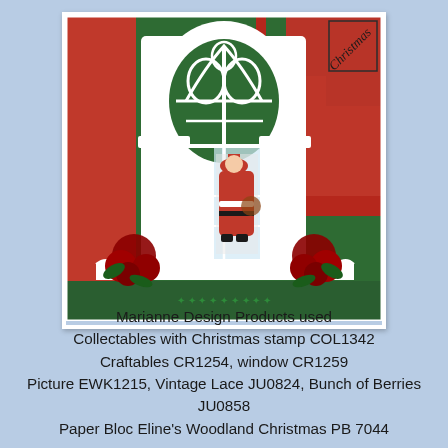[Figure (photo): A handmade Christmas craft card featuring a white arched Gothic window die cut, red and green Christmas patterned papers, a Santa Claus figure visible through an open window/door, two dark red poinsettia or berry flower embellishments at the bottom corners, a white lace border at the bottom, and a 'Christmas' text label in the top right corner.]
Marianne Design Products used
Collectables with Christmas stamp COL1342
Craftables CR1254, window CR1259
Picture EWK1215, Vintage Lace JU0824, Bunch of Berries JU0858
Paper Bloc Eline's Woodland Christmas PB 7044